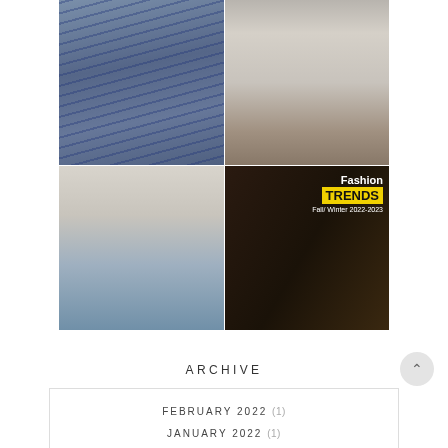[Figure (photo): 2x2 collage of fashion photos: top-left shows a person in a striped navy blazer with a black bag; top-right shows a smiling blonde woman in a cream knit cardigan with floral skirt; bottom-left shows a woman in a beige blazer with jeans taking a mirror selfie; bottom-right is a fashion trends graphic reading 'Fashion TRENDS Fall/Winter 2022-2023' with yellow banner]
ARCHIVE
FEBRUARY 2022 (1)
JANUARY 2022 (1)